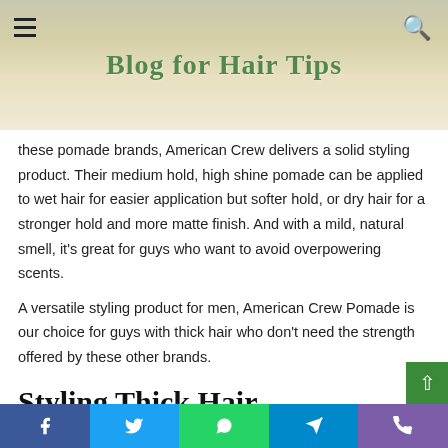Blog for Hair Tips
these pomade brands, American Crew delivers a solid styling product. Their medium hold, high shine pomade can be applied to wet hair for easier application but softer hold, or dry hair for a stronger hold and more matte finish. And with a mild, natural smell, it's great for guys who want to avoid overpowering scents.
A versatile styling product for men, American Crew Pomade is our choice for guys with thick hair who don't need the strength offered by these other brands.
Styling Thick Hair
[text continues below]